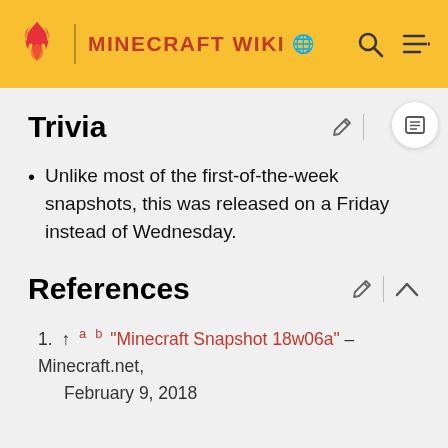MINECRAFT WIKI
Trivia
Unlike most of the first-of-the-week snapshots, this was released on a Friday instead of Wednesday.
References
1. ↑ a b "Minecraft Snapshot 18w06a" – Minecraft.net, February 9, 2018